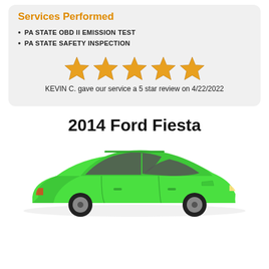Services Performed
PA STATE OBD II EMISSION TEST
PA STATE SAFETY INSPECTION
[Figure (infographic): Five gold stars rating display]
KEVIN C. gave our service a 5 star review on 4/22/2022
2014 Ford Fiesta
[Figure (illustration): Green 2014 Ford Fiesta hatchback car illustration]